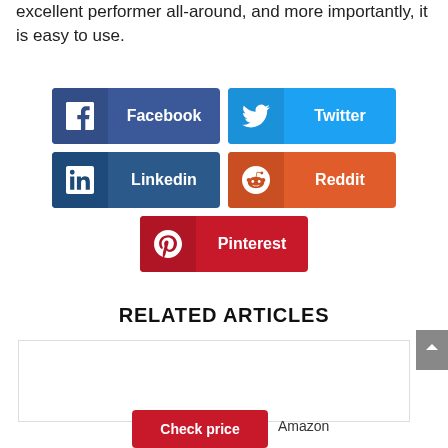excellent performer all-around, and more importantly, it is easy to use.
[Figure (infographic): Social share buttons: Facebook (dark blue), Twitter (light blue), LinkedIn (dark blue), Reddit (orange-red), Pinterest (red)]
RELATED ARTICLES
[Figure (other): Related article image placeholder box]
Check price   Amazon